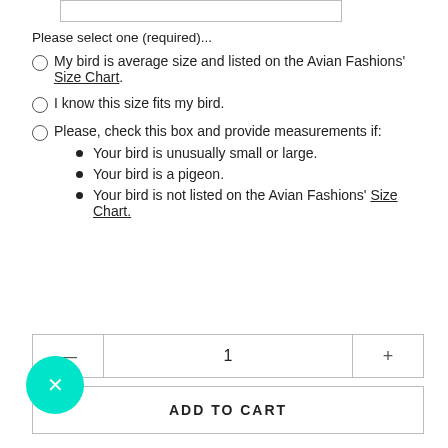Please select one (required)...
My bird is average size and listed on the Avian Fashions' Size Chart.
I know this size fits my bird.
Please, check this box and provide measurements if:
Your bird is unusually small or large.
Your bird is a pigeon.
Your bird is not listed on the Avian Fashions' Size Chart.